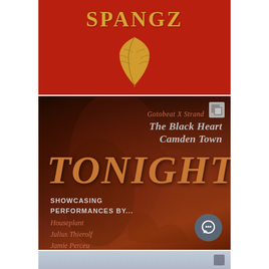[Figure (illustration): Red background with golden stylized text 'SPANGZ' and a golden autumn leaf below it]
[Figure (illustration): Dark smoky event flyer with text: 'Gotobeat X Strand', 'The Black Heart Camden Town', large 'TONIGHT', 'Showcasing Performances By...', and performer names: Houseplant, Julius Thierolf, Jamie Perceu. Dark reddish-brown smoky background with a chat bubble UI button in the bottom right corner.]
[Figure (photo): Partial bottom image showing a person, mostly cropped out of view]